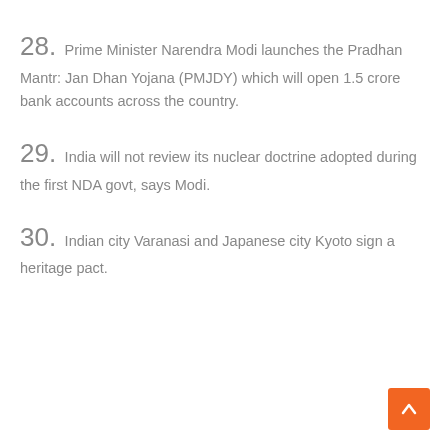28. Prime Minister Narendra Modi launches the Pradhan Mantr: Jan Dhan Yojana (PMJDY) which will open 1.5 crore bank accounts across the country.
29. India will not review its nuclear doctrine adopted during the first NDA govt, says Modi.
30. Indian city Varanasi and Japanese city Kyoto sign a heritage pact.